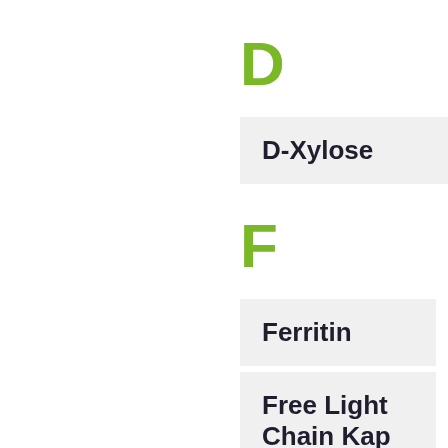D
D-Xylose
F
Ferritin
Free Light Chain Kap
Fructosamine (FRA)